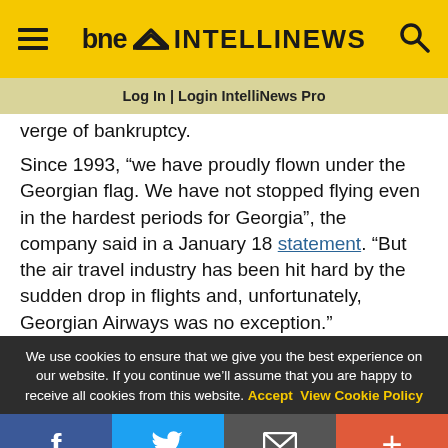bne INTELLINEWS
Log In | Login IntelliNews Pro
verge of bankruptcy.
Since 1993, “we have proudly flown under the Georgian flag. We have not stopped flying even in the hardest periods for Georgia”, the company said in a January 18 statement. “But the air travel industry has been hit hard by the sudden drop in flights and, unfortunately, Georgian Airways was no exception.”
We use cookies to ensure that we give you the best experience on our website. If you continue we’ll assume that you are happy to receive all cookies from this website. Accept View Cookie Policy
f • Twitter • Email • +